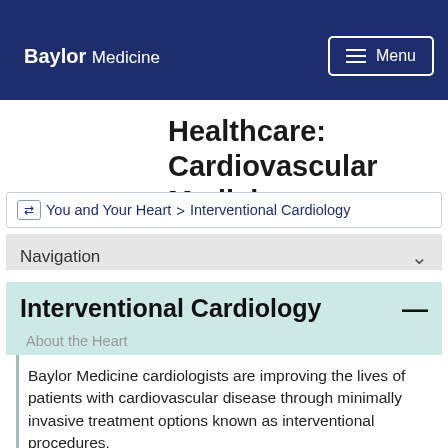Baylor Medicine
Healthcare: Cardiovascular Medicine
ne ⇔ You and Your Heart > Interventional Cardiology
Navigation
Interventional Cardiology
About the Heart
Baylor Medicine cardiologists are improving the lives of patients with cardiovascular disease through minimally invasive treatment options known as interventional procedures.
Lives of patients with cardiovascular disease
Interventional Cardiology